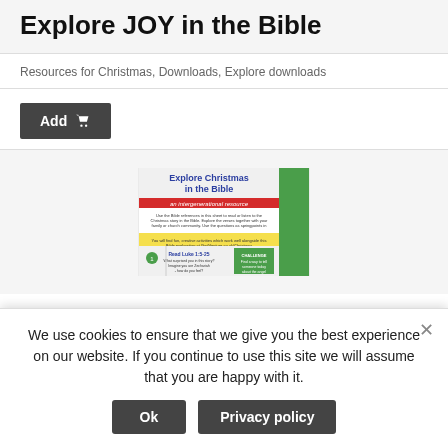Explore JOY in the Bible
Resources for Christmas, Downloads, Explore downloads
Add
[Figure (illustration): Book cover for 'Explore Christmas in the Bible - an intergenerational resource' showing a green and red designed booklet with Bible study questions including a section on Read Luke 1:5-25]
We use cookies to ensure that we give you the best experience on our website. If you continue to use this site we will assume that you are happy with it.
Ok
Privacy policy